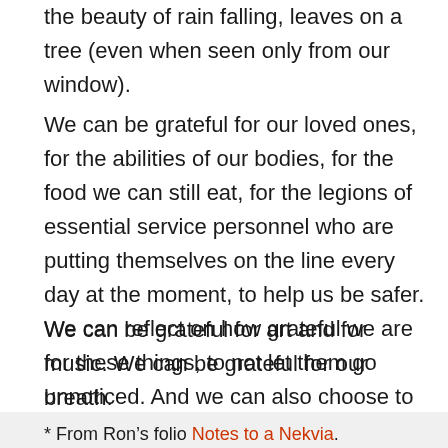the beauty of rain falling, leaves on a tree (even when seen only from our window).
We can be grateful for our loved ones, for the abilities of our bodies, for the food we can still eat, for the legions of essential service personnel who are putting themselves on the line every day at the moment, to help us be safer. We can be grateful for art and for music. We can be grateful for our breath.
We can reflect on how grateful we are for these things, to not let them go unnoticed. And we can also choose to share our gratitude with others.
* From Ron’s folio Notes to a Nekvia.